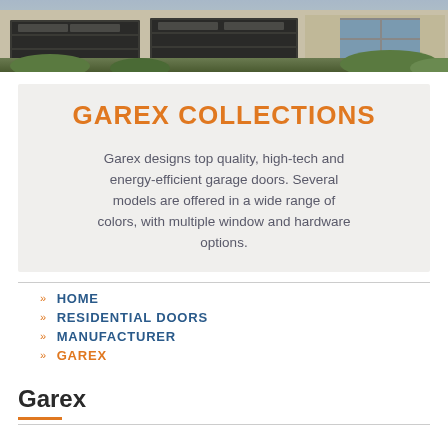[Figure (photo): Hero photo of garage doors on a house exterior with stone facade and landscaping]
GAREX COLLECTIONS
Garex designs top quality, high-tech and energy-efficient garage doors. Several models are offered in a wide range of colors, with multiple window and hardware options.
HOME
RESIDENTIAL DOORS
MANUFACTURER
GAREX
Garex